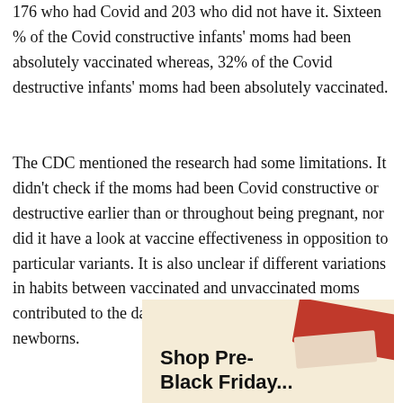176 who had Covid and 203 who did not have it. Sixteen % of the Covid constructive infants' moms had been absolutely vaccinated whereas, 32% of the Covid destructive infants' moms had been absolutely vaccinated.
The CDC mentioned the research had some limitations. It didn't check if the moms had been Covid constructive or destructive earlier than or throughout being pregnant, nor did it have a look at vaccine effectiveness in opposition to particular variants. It is also unclear if different variations in habits between vaccinated and unvaccinated moms contributed to the danger of an infection for his or her newborns.
[Figure (illustration): Advertisement banner showing 'Shop Pre-Black Friday' text with a red ribbon and fabric/textile items on a tan/beige background]